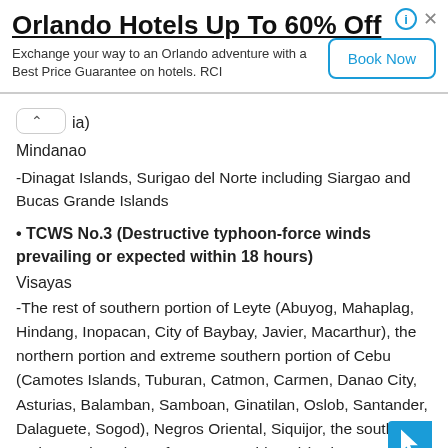[Figure (other): Advertisement banner: Orlando Hotels Up To 60% Off - RCI booking ad with Book Now button]
(ia)
Mindanao
-Dinagat Islands, Surigao del Norte including Siargao and Bucas Grande Islands
• TCWS No.3 (Destructive typhoon-force winds prevailing or expected within 18 hours)
Visayas
-The rest of southern portion of Leyte (Abuyog, Mahaplag, Hindang, Inopacan, City of Baybay, Javier, Macarthur), the northern portion and extreme southern portion of Cebu (Camotes Islands, Tuburan, Catmon, Carmen, Danao City, Asturias, Balamban, Samboan, Ginatilan, Oslob, Santander, Dalaguete, Sogod), Negros Oriental, Siquijor, the southern and central portions of Negros Occidental (Calatrava, Sa[…]